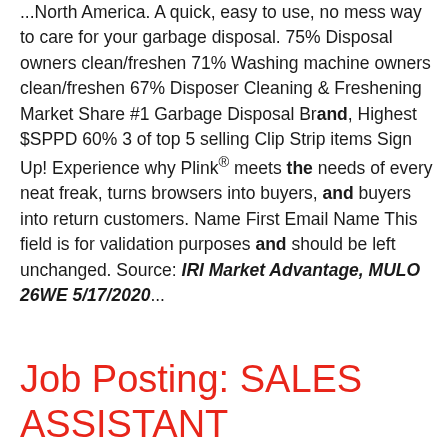...North America. A quick, easy to use, no mess way to care for your garbage disposal. 75% Disposal owners clean/freshen 71% Washing machine owners clean/freshen 67% Disposer Cleaning & Freshening Market Share #1 Garbage Disposal Brand, Highest $SPPD 60% 3 of top 5 selling Clip Strip items Sign Up! Experience why Plink® meets the needs of every neat freak, turns browsers into buyers, and buyers into return customers. Name First Email Name This field is for validation purposes and should be left unchanged. Source: IRI Market Advantage, MULO 26WE 5/17/2020...
Job Posting: SALES ASSISTANT